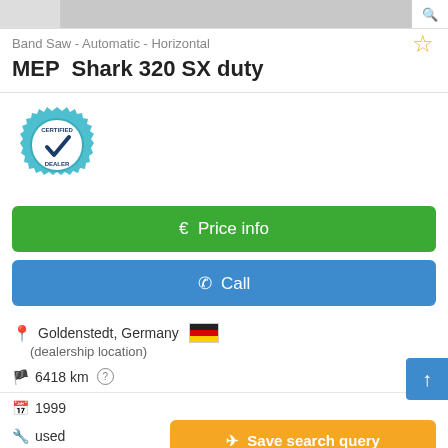[Figure (screenshot): Top image bar with product photo placeholder]
Band Saw - Automatic - Horizontal
MEP  Shark 320 SX duty
[Figure (logo): Certified Dealer badge with gear and checkmark]
€  Price info
📞  Call
Goldenstedt, Germany 🇩🇪
(dealership location)
6418 km
1999
used
Save search query